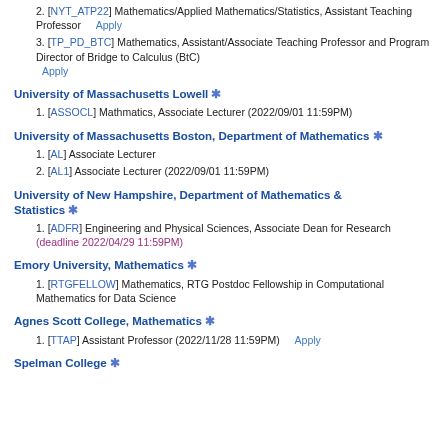2. [NYT_ATP22] Mathematics/Applied Mathematics/Statistics, Assistant Teaching Professor   Apply
3. [TP_PD_BTC] Mathematics, Assistant/Associate Teaching Professor and Program Director of Bridge to Calculus (BtC) Apply
University of Massachusetts Lowell *
1. [ASSOCL] Mathmatics, Associate Lecturer (2022/09/01 11:59PM)
University of Massachusetts Boston, Department of Mathematics *
1. [AL] Associate Lecturer
2. [AL1] Associate Lecturer (2022/09/01 11:59PM)
University of New Hampshire, Department of Mathematics & Statistics *
1. [ADFR] Engineering and Physical Sciences, Associate Dean for Research (deadline 2022/04/29 11:59PM)
Emory University, Mathematics *
1. [RTGFELLOW] Mathematics, RTG Postdoc Fellowship in Computational Mathematics for Data Science
Agnes Scott College, Mathematics *
1. [TTAP] Assistant Professor (2022/11/28 11:59PM)   Apply
Spelman College *